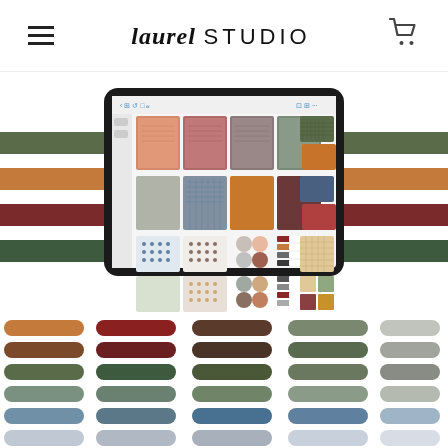laurel STUDIO
[Figure (screenshot): Product page screenshot showing an iPad displaying a digital planner/sticker kit with colorful notebook pages, dot stickers, circle stickers, and color swatches in earth tones (terracotta, sage green, slate blue, burgundy, tan). Below the iPad are rows of pill/rectangle shaped color swatches in various earth tones arranged in horizontal rows.]